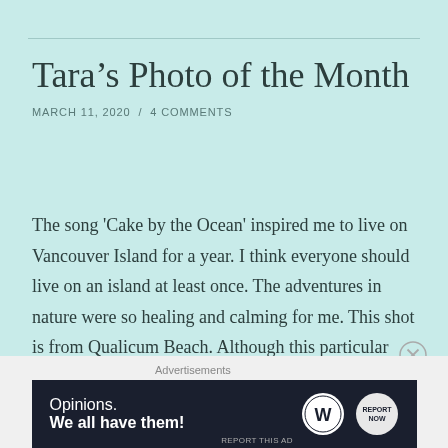Tara’s Photo of the Month
MARCH 11, 2020  /  4 COMMENTS
The song 'Cake by the Ocean' inspired me to live on Vancouver Island for a year. I think everyone should live on an island at least once. The adventures in nature were so healing and calming for me. This shot is from Qualicum Beach. Although this particular beach receives a great deal of press, the … Continue reading
[Figure (other): Advertisement banner with dark navy background showing WordPress and Report Now logos with text: Opinions. We all have them!]